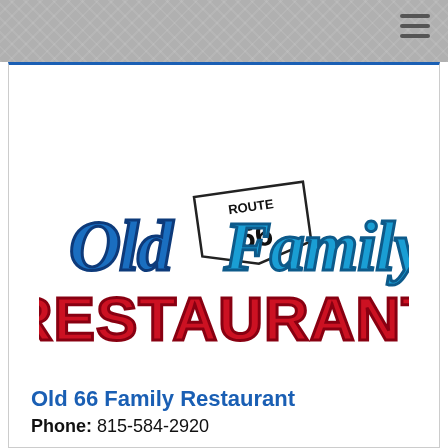[Figure (logo): Old 66 Family Restaurant logo featuring cursive blue text 'Old Family' with a Route 66 highway shield sign in the middle, and bold red block letters 'RESTAURANT' below]
Old 66 Family Restaurant
Phone: 815-584-2920